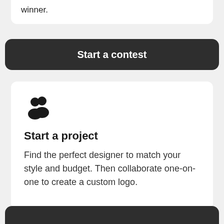winner.
Start a contest
[Figure (illustration): Two person silhouette icons (group/team icon)]
Start a project
Find the perfect designer to match your style and budget. Then collaborate one-on-one to create a custom logo.